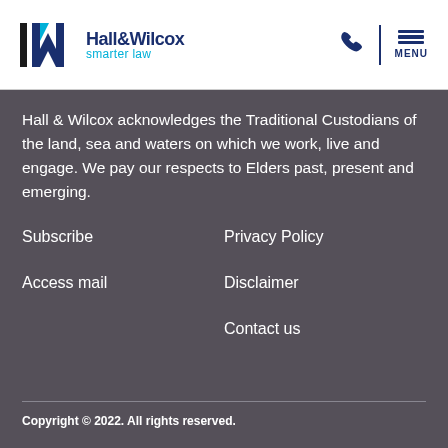[Figure (logo): Hall & Wilcox smarter law logo with stylized N/W graphic icon in black and dark navy, company name in dark navy, tagline 'smarter law' in cyan/teal]
Hall & Wilcox acknowledges the Traditional Custodians of the land, sea and waters on which we work, live and engage. We pay our respects to Elders past, present and emerging.
Subscribe
Privacy Policy
Access mail
Disclaimer
Contact us
Copyright © 2022. All rights reserved.